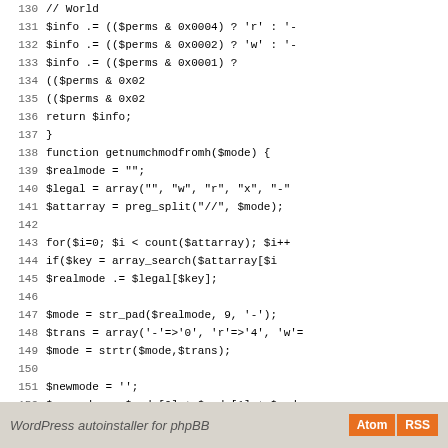[Figure (screenshot): PHP source code snippet showing lines 130-158, including functions getnumchmodfromh and related code]
WordPress autoinstaller for phpBB  Atom  RSS